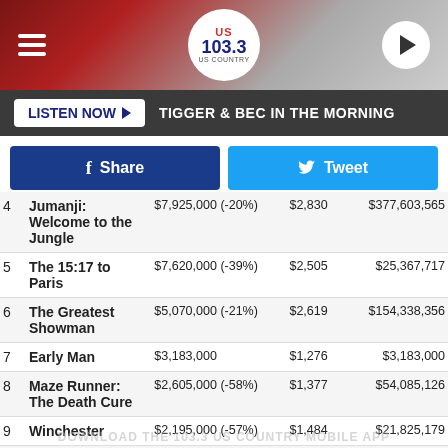US 103.3 radio station header with hamburger menu and play button
LISTEN NOW ▶ TIGGER & BEC IN THE MORNING
f Share | Tweet
| # | Title | Weekend | Avg | Total |
| --- | --- | --- | --- | --- |
| 4 | Jumanji: Welcome to the Jungle | $7,925,000 (-20%) | $2,830 | $377,603,565 |
| 5 | The 15:17 to Paris | $7,620,000 (-39%) | $2,505 | $25,367,717 |
| 6 | The Greatest Showman | $5,070,000 (-21%) | $2,619 | $154,338,356 |
| 7 | Early Man | $3,183,000 | $1,276 | $3,183,000 |
| 8 | Maze Runner: The Death Cure | $2,605,000 (-58%) | $1,377 | $54,085,126 |
| 9 | Winchester | $2,195,000 (-57%) | $1,484 | $21,825,179 |
| 10 | The Post | $2,000,000 (-44%) | $1,905 | $76,609,372 |